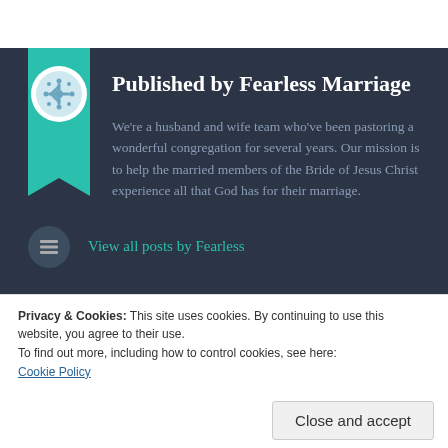[Figure (logo): Fearless Marriage logo circle with decorative pattern on teal ribbon/bookmark background]
Published by Fearless Marriage
We're a husband and wife team who've been pastoring a wonderful congregation for several years. Our mission is to help the married members of the Bride of Jesus Christ experience all that God has for their marriage.
View all posts by Fearless
Privacy & Cookies: This site uses cookies. By continuing to use this website, you agree to their use.
To find out more, including how to control cookies, see here:
Cookie Policy
Close and accept